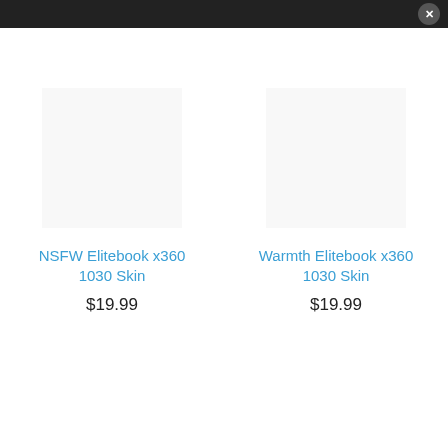[Figure (screenshot): Dark top navigation bar with a close (X) button on the right side]
NSFW Elitebook x360 1030 Skin
$19.99
Warmth Elitebook x360 1030 Skin
$19.99